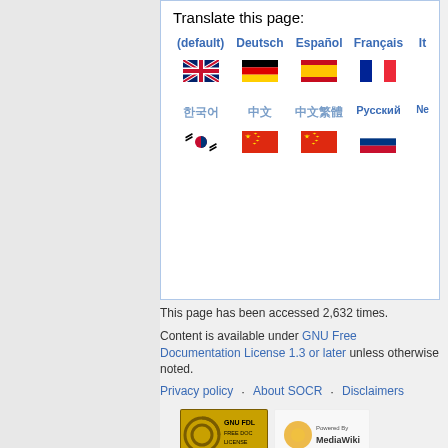Translate this page:
[Figure (infographic): Language translation options with flags: (default)/English, Deutsch/German, Español/Spanish, Français/French, It[aliano], Korean, Chinese (simplified), Chinese, Русский, Ne[derlands]]
This page has been accessed 2,632 times.
Content is available under GNU Free Documentation License 1.3 or later unless otherwise noted.
Privacy policy · About SOCR · Disclaimers
[Figure (logo): GNU FDL Free Doc License badge and Powered by MediaWiki badge]